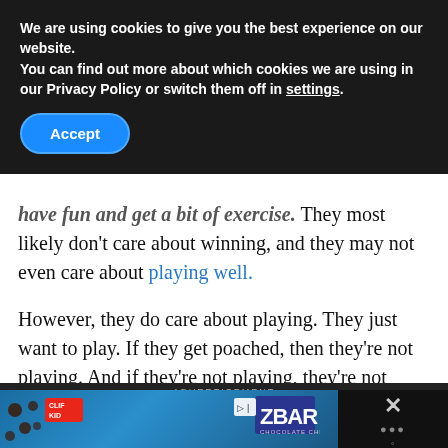We are using cookies to give you the best experience on our website.
You can find out more about which cookies we are using in our Privacy Policy or switch them off in settings.
Accept
have fun and get a bit of exercise. They most likely don't care about winning, and they may not even care about playing well.
However, they do care about playing. They just want to play. If they get poached, then they're not playing. And if they're not playing, they're not having fun. You see where this goes.
[Figure (photo): Advertisement banner at bottom showing ZBAR chocolate chip energy bar product with coffee beans and grain toppings on blue background, with close button area on right side]